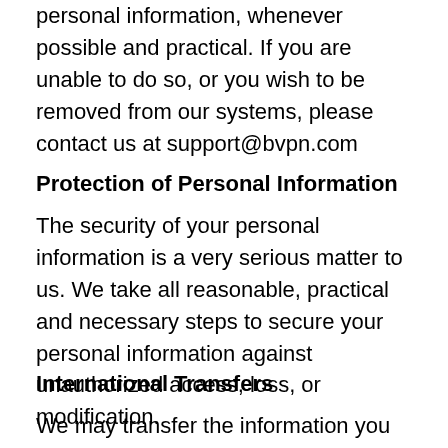personal information, whenever possible and practical. If you are unable to do so, or you wish to be removed from our systems, please contact us at support@bvpn.com
Protection of Personal Information
The security of your personal information is a very serious matter to us. We take all reasonable, practical and necessary steps to secure your personal information against unauthorized access, loss, or modification.
International Transfers
We may transfer the information you provide to us, to countries other than the country you reside in and